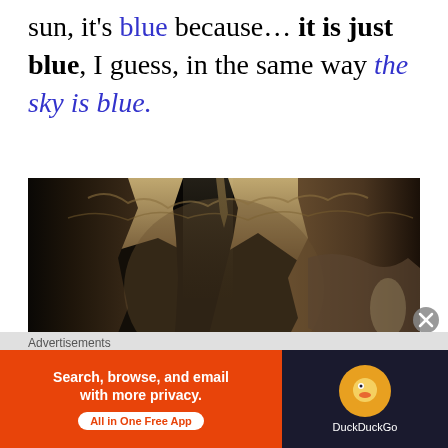sun, it's blue because... it is just blue, I guess, in the same way the sky is blue.
[Figure (photo): A person in a dark cave looking up at rocky walls and ceiling, with light coming through a narrow gap in the rocks.]
Advertisements
[Figure (other): DuckDuckGo advertisement banner: orange left panel with text 'Search, browse, and email with more privacy. All in One Free App' and dark right panel with DuckDuckGo duck logo.]